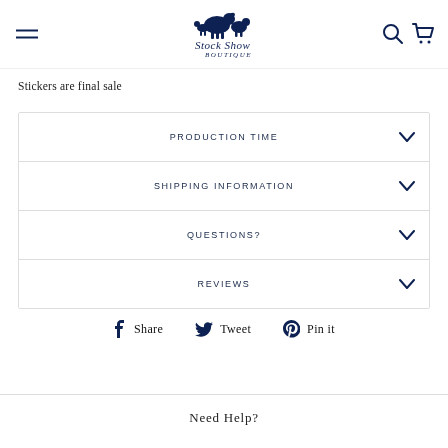[Figure (logo): Stock Show Boutique logo with farm animals illustration in navy blue]
Stickers are final sale
PRODUCTION TIME
SHIPPING INFORMATION
QUESTIONS?
REVIEWS
Share  Tweet  Pin it
Need Help?